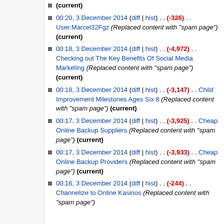(current)
00:20, 3 December 2014 (diff | hist) . . (-326) . . User:Marcel32Fgz (Replaced content with "spam page") (current)
00:18, 3 December 2014 (diff | hist) . . (-4,972) . . Checking out The Key Benefits Of Social Media Marketing (Replaced content with "spam page") (current)
00:18, 3 December 2014 (diff | hist) . . (-3,147) . . Child Improvement Milestones Ages Six 8 (Replaced content with "spam page") (current)
00:17, 3 December 2014 (diff | hist) . . (-3,925) . . Cheap Online Backup Suppliers (Replaced content with "spam page") (current)
00:17, 3 December 2014 (diff | hist) . . (-3,933) . . Cheap Online Backup Providers (Replaced content with "spam page") (current)
00:16, 3 December 2014 (diff | hist) . . (-244) . . Channelize to Online Kasinos (Replaced content with "spam page")